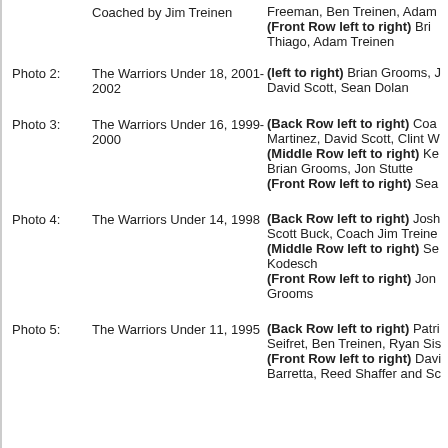Coached by Jim Treinen / Freeman, Ben Treinen, Adam... (Front Row left to right) Bri... Thiago, Adam Treinen
Photo 2: The Warriors Under 18, 2001-2002 — (left to right) Brian Grooms, J... David Scott, Sean Dolan
Photo 3: The Warriors Under 16, 1999-2000 — (Back Row left to right) Coa... Martinez, David Scott, Clint W... (Middle Row left to right) Ke... Brian Grooms, Jon Stutte (Front Row left to right) Sea...
Photo 4: The Warriors Under 14, 1998 — (Back Row left to right) Josh... Scott Buck, Coach Jim Treine... (Middle Row left to right) Se... Kodesch (Front Row left to right) Jon... Grooms
Photo 5: The Warriors Under 11, 1995 — (Back Row left to right) Patri... Seifret, Ben Treinen, Ryan Sis... (Front Row left to right) Davi... Barretta, Reed Shaffer and Sc...